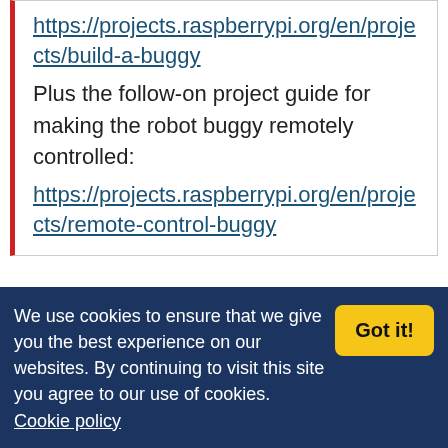https://projects.raspberrypi.org/en/projects/build-a-buggy
Plus the follow-on project guide for making the robot buggy remotely controlled:
https://projects.raspberrypi.org/en/projects/remote-control-buggy
Leave a Comment
Comments are closed
We use cookies to ensure that we give you the best experience on our websites. By continuing to visit this site you agree to our use of cookies. Cookie policy